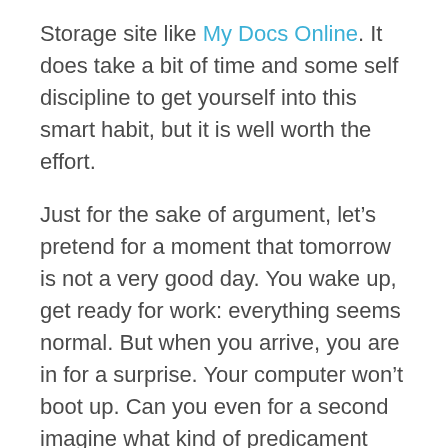Storage site like My Docs Online. It does take a bit of time and some self discipline to get yourself into this smart habit, but it is well worth the effort.
Just for the sake of argument, let’s pretend for a moment that tomorrow is not a very good day. You wake up, get ready for work: everything seems normal. But when you arrive, you are in for a surprise. Your computer won’t boot up. Can you even for a second imagine what kind of predicament you will find yourself in if tomorrow this actually happens?
Or, let’s say you have an important flight